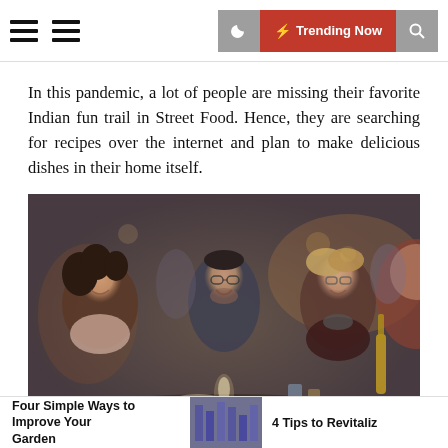Trending Now
In this pandemic, a lot of people are missing their favorite Indian fun trail in Street Food. Hence, they are searching for recipes over the internet and plan to make delicious dishes in their home itself.
[Figure (photo): Group of people smiling and eating together at a restaurant table, with wine bottle and glasses visible.]
Four Simple Ways to Improve Your Garden | 4 Tips to Revitaliz